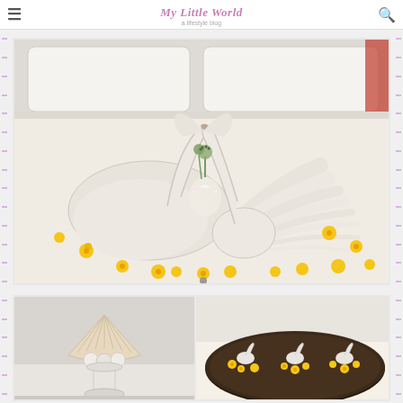My Little World — blog header with hamburger menu and search icon
[Figure (photo): Hotel bed decorated with two swans made from folded white towels forming a heart shape, surrounded by yellow flowers, with a white lily in the center on a white bed]
[Figure (photo): Collage of two hotel room decoration photos: left shows a white shell-shaped decorative piece on a pedestal; right shows a dark round table with small swan towel decorations and yellow flowers]